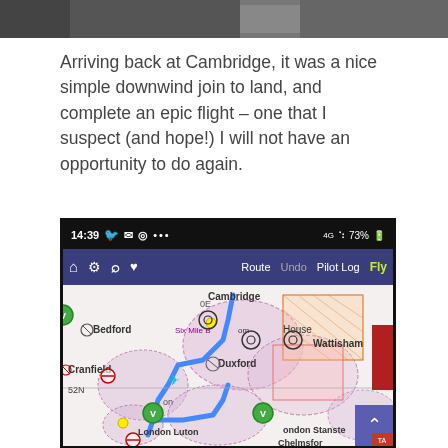[Figure (photo): Partial photo strip at the top of the page, showing a cropped image (mostly gray/dark tones)]
Arriving back at Cambridge, it was a nice simple downwind join to land, and complete an epic flight – one that I suspect (and hope!) I will not have an opportunity to do again.
[Figure (screenshot): Screenshot of aviation navigation app showing a route map at 14:39 with 73% battery, displaying locations including Cambridge, Bedford, Cranfield, Duxford, Wattisham, London Luton, London Stansted, and Chelmsford. Navigation toolbar shows Route, Undo, Pilot Log, and Fly options. A blue route line is visible on the map. A red Warning tab appears on the right edge.]